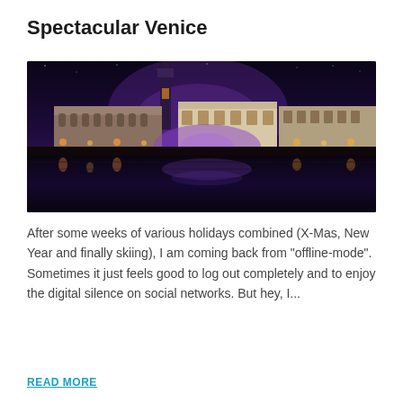Spectacular Venice
[Figure (photo): Night photograph of Venice waterfront showing illuminated buildings including a tall bell tower, the Doge's Palace, and other historic structures reflected in the water of the lagoon. Purple and violet lighting dominates the scene.]
After some weeks of various holidays combined (X-Mas, New Year and finally skiing), I am coming back from "offline-mode". Sometimes it just feels good to log out completely and to enjoy the digital silence on social networks. But hey, I...
READ MORE